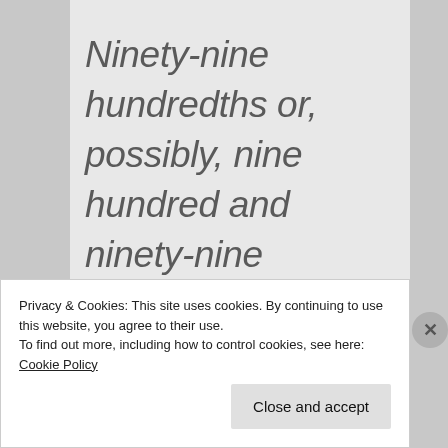Ninety-nine hundredths or, possibly, nine hundred and ninety-nine thousandths of our activity is purely automatic and habitual,
Privacy & Cookies: This site uses cookies. By continuing to use this website, you agree to their use.
To find out more, including how to control cookies, see here: Cookie Policy
Close and accept